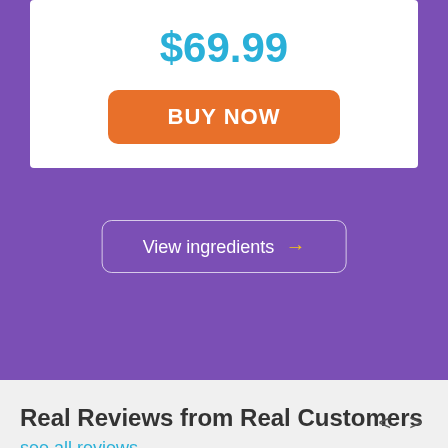$69.99
BUY NOW
View ingredients →
Real Reviews from Real Customers
see all reviews
< >